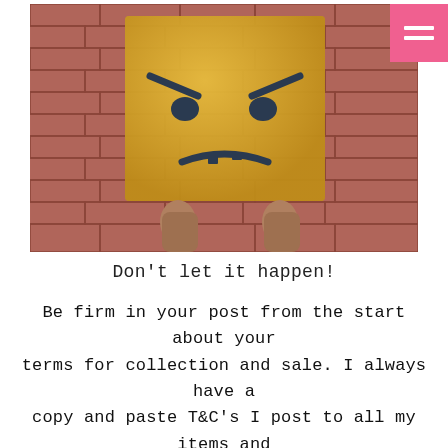[Figure (photo): A person holding up a large yellow paper/card with an angry face drawn on it (frowning mouth, furrowed eyebrows) against a red brick wall background. Two hands are visible at the bottom of the card holding it up.]
Don't let it happen!
Be firm in your post from the start about your terms for collection and sale. I always have a copy and paste T&C's I post to all my items and tweak them accordingly!!